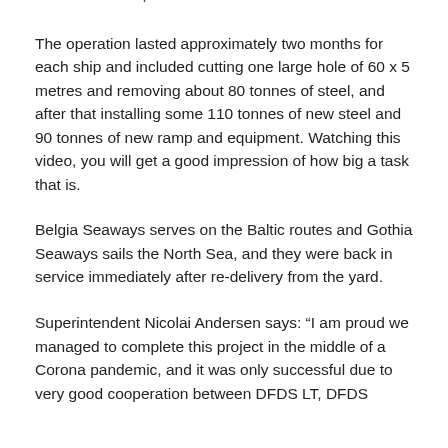an external ramp for about d.
The operation lasted approximately two months for each ship and included cutting one large hole of 60 x 5 metres and removing about 80 tonnes of steel, and after that installing some 110 tonnes of new steel and 90 tonnes of new ramp and equipment. Watching this video, you will get a good impression of how big a task that is.
Belgia Seaways serves on the Baltic routes and Gothia Seaways sails the North Sea, and they were back in service immediately after re-delivery from the yard.
Superintendent Nicolai Andersen says: “I am proud we managed to complete this project in the middle of a Corona pandemic, and it was only successful due to very good cooperation between DFDS LT, DFDS